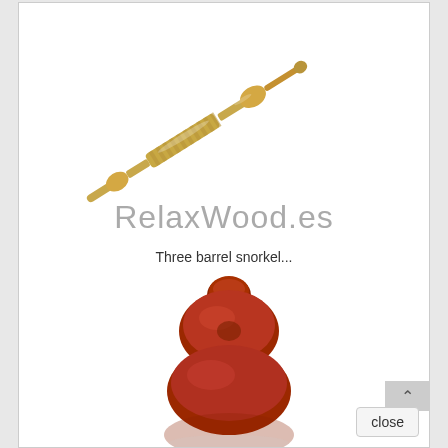[Figure (photo): A golden/brass colored acupressure or massage stick tool with textured ridges in the middle, photographed on white background, oriented diagonally]
[Figure (logo): RelaxWood.es website logo text in light gray]
Three barrel snorkel...
[Figure (photo): A red/brown wooden massage tool with three barrel-shaped bulges stacked vertically, photographed on white background, showing the top portion of the tool]